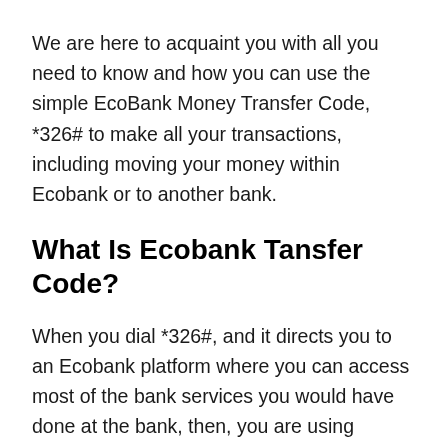We are here to acquaint you with all you need to know and how you can use the simple EcoBank Money Transfer Code, *326# to make all your transactions, including moving your money within Ecobank or to another bank.
What Is Ecobank Tansfer Code?
When you dial *326#, and it directs you to an Ecobank platform where you can access most of the bank services you would have done at the bank, then, you are using EcoBank USSD code. Generally, when you dial a number that starts with * and ends with #, you are using USSD. A bank's USSD code, also known as Unstructured Supplementary Service